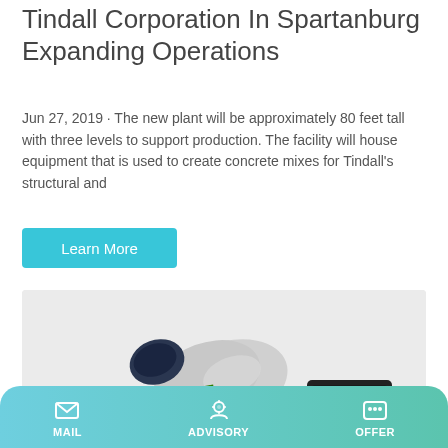Tindall Corporation In Spartanburg Expanding Operations
Jun 27, 2019 · The new plant will be approximately 80 feet tall with three levels to support production. The facility will house equipment that is used to create concrete mixes for Tindall's structural and
Learn More
[Figure (photo): Green and white concrete mixer truck on a light gray background]
MAIL   ADVISORY   OFFER